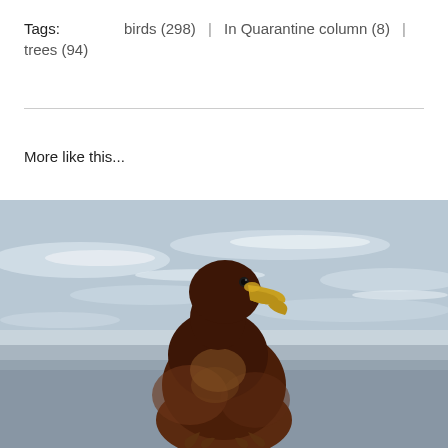Tags:    birds (298)  |  In Quarantine column (8)  |  trees (94)
More like this...
[Figure (photo): A large dark brown eagle or hawk standing on a beach with ocean waves in the background, viewed from a slightly elevated angle. The bird has a yellow beak and brownish-gold plumage on its chest.]